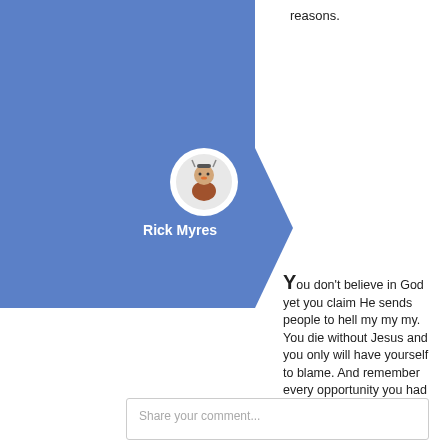reasons.
[Figure (screenshot): Blue Facebook-style comment panel with arrow/chevron shape, profile avatar circle with cartoon character, and bold white name label 'Rick Myres']
You don't believe in God yet you claim He sends people to hell my my my. You die without Jesus and you only will have yourself to blame. And remember every opportunity you had for eternity. I love you in Jesus. :)
Share your comment...